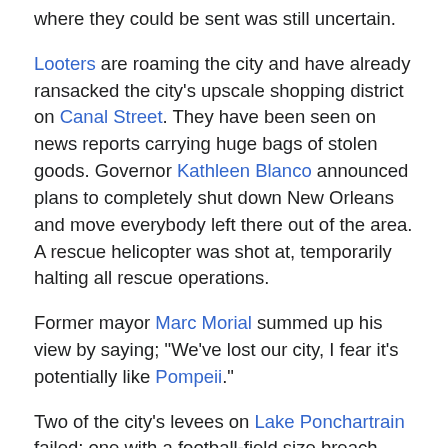where they could be sent was still uncertain.
Looters are roaming the city and have already ransacked the city's upscale shopping district on Canal Street. They have been seen on news reports carrying huge bags of stolen goods. Governor Kathleen Blanco announced plans to completely shut down New Orleans and move everybody left there out of the area. A rescue helicopter was shot at, temporarily halting all rescue operations.
Former mayor Marc Morial summed up his view by saying; "We've lost our city, I fear it's potentially like Pompeii."
Two of the city's levees on Lake Ponchartrain failed; one with a football-field size breach. Emergency workers dropped sandbags from helicopters into the levee's breaches, but the water kept coming.